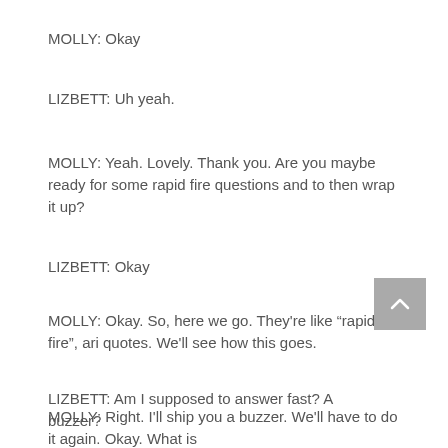MOLLY: Okay
LIZBETT: Uh yeah.
MOLLY: Yeah. Lovely. Thank you. Are you maybe ready for some rapid fire questions and to then wrap it up?
LIZBETT: Okay
MOLLY: Okay. So, here we go. They're like “rapid fire”, ari quotes. We'll see how this goes.
LIZBETT: Am I supposed to answer fast? A buzzer?
MOLLY: Right. I'll ship you a buzzer. We'll have to do it again. Okay. What is